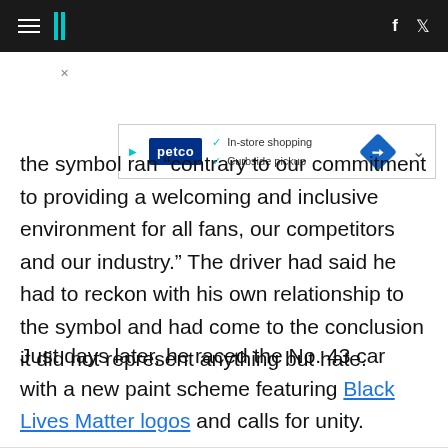HuffPost navigation bar with hamburger menu, logo, Facebook and Twitter icons
[Figure (other): Petco advertisement banner with in-store shopping and curbside pickup checkmarks, a blue diamond direction icon]
the symbol ran “contrary to our commitment to providing a welcoming and inclusive environment for all fans, our competitors and our industry.” The driver had said he had to reckon with his own relationship to the symbol and had come to the conclusion it did not represent anything but hate.
Just days later, he raced the No. 43 car with a new paint scheme featuring Black Lives Matter logos and calls for unity.